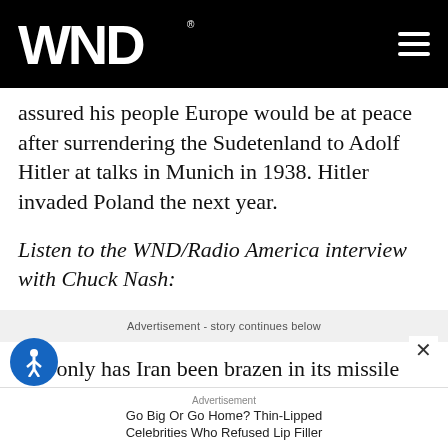WND
assured his people Europe would be at peace after surrendering the Sudetenland to Adolf Hitler at talks in Munich in 1938. Hitler invaded Poland the next year.
Listen to the WND/Radio America interview with Chuck Nash:
Advertisement - story continues below
Not only has Iran been brazen in its missile testing, it also played an aggressive role in the detention of U.S. Navy personnel in January, forcing Americans to their
Advertisement
Go Big Or Go Home? Thin-Lipped Celebrities Who Refused Lip Filler